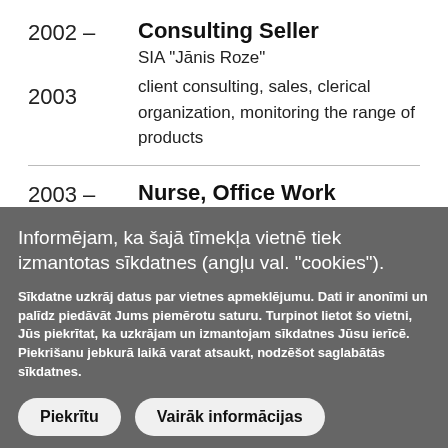Consulting Seller
2002 –
SIA "Jānis Roze"
2003
client consulting, sales, clerical organization, monitoring the range of products
Nurse, Office Work Organizerer
2003 –
Ārstu privātprakse, SIA "Mežums – 1"
Informējam, ka šajā tīmekļa vietnē tiek izmantotas sīkdatnes (angļu val. "cookies").
Sīkdatne uzkrāj datus par vietnes apmeklējumu. Dati ir anonīmi un palīdz piedāvāt Jums piemērotu saturu. Turpinot lietot šo vietni, Jūs piekrītat, ka uzkrājam un izmantojam sīkdatnes Jūsu ierīcē. Piekrišanu jebkurā laikā varat atsaukt, nodzēšot saglabātās sīkdatnes.
Piekrītu
Vairāk informācijas